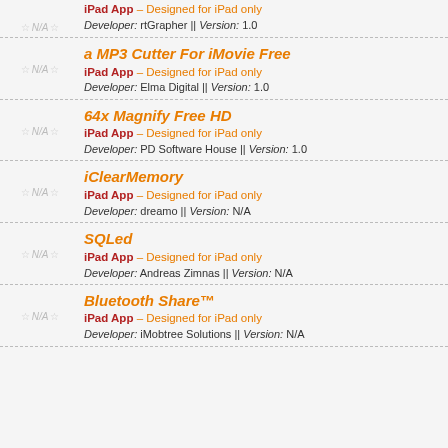iPad App – Designed for iPad only
Developer: rtGrapher || Version: 1.0
a MP3 Cutter For iMovie Free
iPad App – Designed for iPad only
Developer: Elma Digital || Version: 1.0
64x Magnify Free HD
iPad App – Designed for iPad only
Developer: PD Software House || Version: 1.0
iClearMemory
iPad App – Designed for iPad only
Developer: dreamo || Version: N/A
SQLed
iPad App – Designed for iPad only
Developer: Andreas Zimnas || Version: N/A
Bluetooth Share™
iPad App – Designed for iPad only
Developer: iMobtree Solutions || Version: N/A